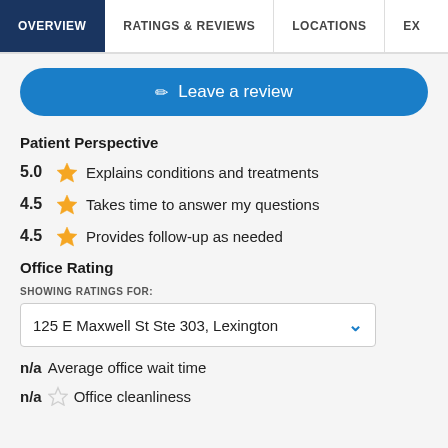OVERVIEW | RATINGS & REVIEWS | LOCATIONS | EX
Leave a review
Patient Perspective
5.0 ★ Explains conditions and treatments
4.5 ★ Takes time to answer my questions
4.5 ★ Provides follow-up as needed
Office Rating
SHOWING RATINGS FOR:
125 E Maxwell St Ste 303, Lexington
n/a Average office wait time
n/a ☆ Office cleanliness